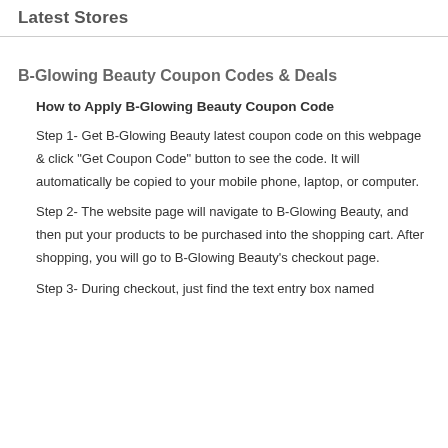Latest Stores
B-Glowing Beauty Coupon Codes & Deals
How to Apply B-Glowing Beauty Coupon Code
Step 1- Get B-Glowing Beauty latest coupon code on this webpage & click "Get Coupon Code" button to see the code. It will automatically be copied to your mobile phone, laptop, or computer.
Step 2- The website page will navigate to B-Glowing Beauty, and then put your products to be purchased into the shopping cart. After shopping, you will go to B-Glowing Beauty's checkout page.
Step 3- During checkout, just find the text entry box named